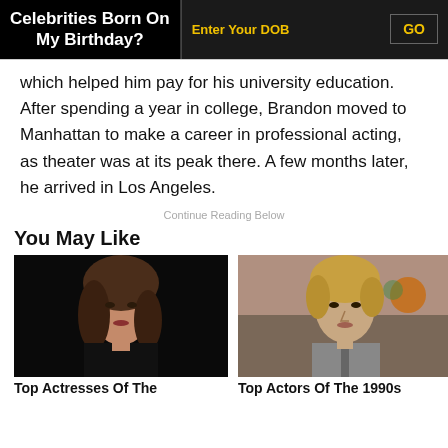Celebrities Born On My Birthday?  |  Enter Your DOB  |  GO
which helped him pay for his university education. After spending a year in college, Brandon moved to Manhattan to make a career in professional acting, as theater was at its peak there. A few months later, he arrived in Los Angeles.
Continue Reading Below
You May Like
[Figure (photo): Photo of a woman (actress) with dark hair against a black background]
Top Actresses Of The
[Figure (photo): Photo of a man (actor) with blond hair in an outdoor setting]
Top Actors Of The 1990s